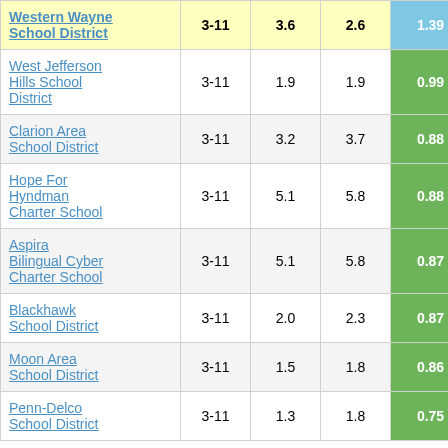| School District | Grades | Col3 | Col4 | Col5 |
| --- | --- | --- | --- | --- |
| Western Wayne School District | 3-11 | 3.6 | 2.6 | 1.39 |
| West Jefferson Hills School District | 3-11 | 1.9 | 1.9 | 0.99 |
| Clarion Area School District | 3-11 | 3.2 | 3.7 | 0.88 |
| Hope For Hyndman Charter School | 3-11 | 5.1 | 5.8 | 0.88 |
| Aspira Bilingual Cyber Charter School | 3-11 | 5.1 | 5.8 | 0.87 |
| Blackhawk School District | 3-11 | 2.0 | 2.3 | 0.87 |
| Moon Area School District | 3-11 | 1.5 | 1.8 | 0.86 |
| Penn-Delco School District | 3-11 | 1.3 | 1.8 | 0.75 |